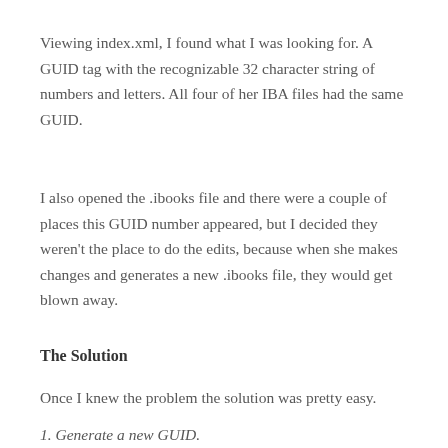Viewing index.xml, I found what I was looking for. A GUID tag with the recognizable 32 character string of numbers and letters. All four of her IBA files had the same GUID.
I also opened the .ibooks file and there were a couple of places this GUID number appeared, but I decided they weren't the place to do the edits, because when she makes changes and generates a new .ibooks file, they would get blown away.
The Solution
Once I knew the problem the solution was pretty easy.
1. Generate a new GUID.